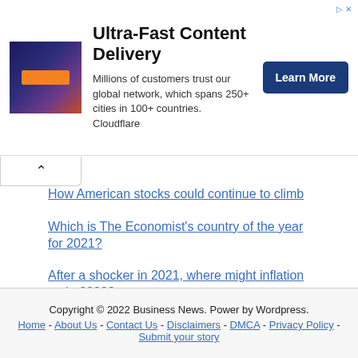[Figure (other): Cloudflare advertisement banner with logo, headline 'Ultra-Fast Content Delivery', subtext about global network, and a 'Learn More' button]
How American stocks could continue to climb
Which is The Economist's country of the year for 2021?
After a shocker in 2021, where might inflation go in 2022?
The hidden costs of cutting Russia off from SWIFT
Has the pandemic shown inflation to be a fiscal phenomenon?
Copyright © 2022 Business News. Power by Wordpress. Home - About Us - Contact Us - Disclaimers - DMCA - Privacy Policy - Submit your story